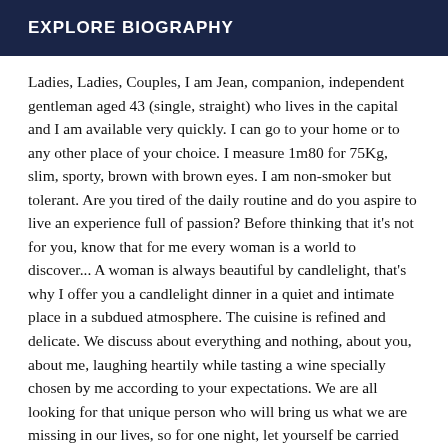EXPLORE BIOGRAPHY
Ladies, Ladies, Couples, I am Jean, companion, independent gentleman aged 43 (single, straight) who lives in the capital and I am available very quickly. I can go to your home or to any other place of your choice. I measure 1m80 for 75Kg, slim, sporty, brown with brown eyes. I am non-smoker but tolerant. Are you tired of the daily routine and do you aspire to live an experience full of passion? Before thinking that it's not for you, know that for me every woman is a world to discover... A woman is always beautiful by candlelight, that's why I offer you a candlelight dinner in a quiet and intimate place in a subdued atmosphere. The cuisine is refined and delicate. We discuss about everything and nothing, about you, about me, laughing heartily while tasting a wine specially chosen by me according to your expectations. We are all looking for that unique person who will bring us what we are missing in our lives, so for one night, let yourself be carried away in a whirlwind of